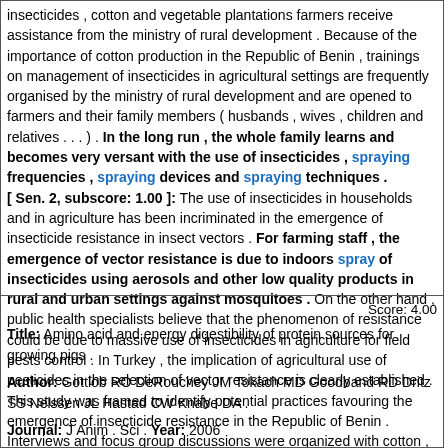insecticides , cotton and vegetable plantations farmers receive assistance from the ministry of rural development . Because of the importance of cotton production in the Republic of Benin , trainings on management of insecticides in agricultural settings are frequently organised by the ministry of rural development and are opened to farmers and their family members ( husbands , wives , children and relatives . . . ) . In the long run , the whole family learns and becomes very versant with the use of insecticides , spraying frequencies , spraying devices and spraying techniques . [ Sen. 2, subscore: 1.00 ]: The use of insecticides in households and in agriculture has been incriminated in the emergence of insecticide resistance in insect vectors . For farming staff , the emergence of vector resistance is due to indoors spray of insecticides using aerosols and other low quality products in rural and urban settings against mosquitoes . On the other hand , public health specialists believe that the phenomenon of resistance could be due to massive use of insecticides in agriculture for field pests control . In Turkey , the implication of agricultural use of pesticides in the selection of vector resistance is clearly established . This study was framed to identify potential practices favouring the emergence of insecticide resistance in the Republic of Benin . Interviews and focus group discussions were organized with cotton , rice and vegetables farmers .
Score: 4.00
Title: Amino acid and energy digestibility of protein sources for growing pigs .
Author: Gottlob RO DeRouchey JM Tokach MD Goodband RD Dritz SS Nelssen JL Hastad CW Knabe DA .
Journal: J Anim . Sci . Year: 2006